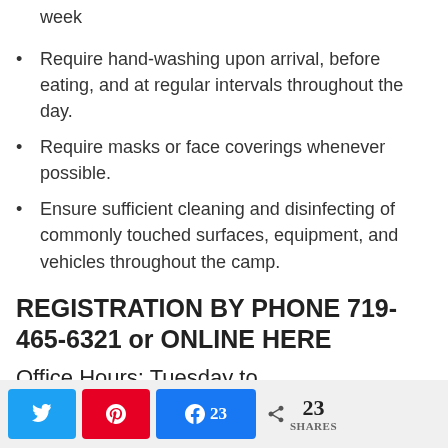week
Require hand-washing upon arrival, before eating, and at regular intervals throughout the day.
Require masks or face coverings whenever possible.
Ensure sufficient cleaning and disinfecting of commonly touched surfaces, equipment, and vehicles throughout the camp.
REGISTRATION BY PHONE 719-465-6321 or ONLINE HERE
Office Hours: Tuesday to